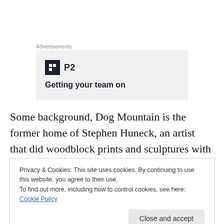Advertisements
[Figure (screenshot): Advertisement banner with P2 logo and tagline 'Getting your team on...']
Some background, Dog Mountain is the former home of Stephen Huneck, an artist that did woodblock prints and sculptures with dog themes. His black Labrador retriever,
Privacy & Cookies: This site uses cookies. By continuing to use this website, you agree to their use.
To find out more, including how to control cookies, see here: Cookie Policy
[Close and accept button]
We took the dogs for a long walk around the mountain and